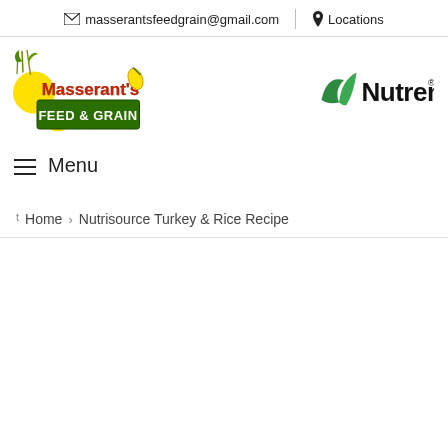masserantsfeedgrain@gmail.com  Locations
[Figure (logo): Masserant's Feed & Grain logo with corn and wheat illustration on green background, and Nutrena logo]
≡ Menu
Home › Nutrisource Turkey & Rice Recipe